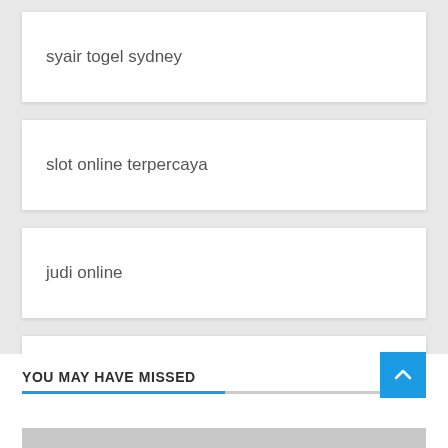syair togel sydney
slot online terpercaya
judi online
Slot Online
YOU MAY HAVE MISSED